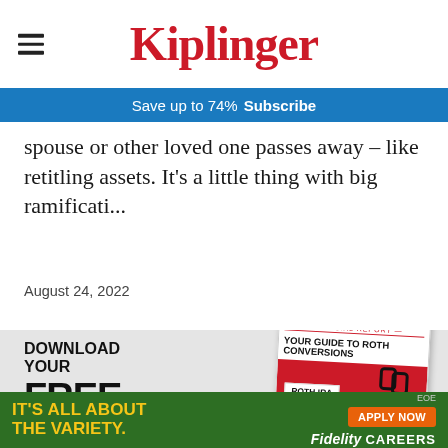Kiplinger
Save up to 74%  Subscribe
spouse or other loved one passes away – like retitling assets. It's a little thing with big ramificati...
August 24, 2022
[Figure (illustration): Promotional banner for Kiplinger special report: Download Your FREE Special Report - Your Guide to Roth Conversions, showing a magazine cover with Roth IRA clipboard image]
[Figure (illustration): Bottom advertisement: IT'S ALL ABOUT THE VARIETY. EOE APPLY NOW Fidelity CAREERS]